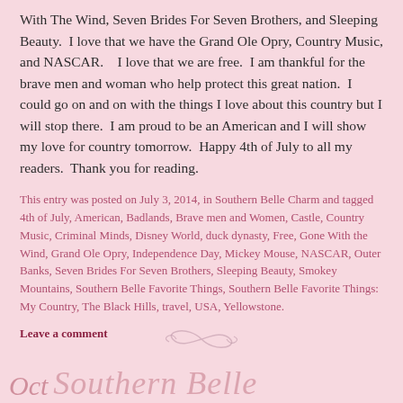With The Wind, Seven Brides For Seven Brothers, and Sleeping Beauty.  I love that we have the Grand Ole Opry, Country Music, and NASCAR.    I love that we are free.  I am thankful for the brave men and woman who help protect this great nation.  I could go on and on with the things I love about this country but I will stop there.  I am proud to be an American and I will show my love for country tomorrow.  Happy 4th of July to all my readers.  Thank you for reading.
This entry was posted on July 3, 2014, in Southern Belle Charm and tagged 4th of July, American, Badlands, Brave men and Women, Castle, Country Music, Criminal Minds, Disney World, duck dynasty, Free, Gone With the Wind, Grand Ole Opry, Independence Day, Mickey Mouse, NASCAR, Outer Banks, Seven Brides For Seven Brothers, Sleeping Beauty, Smokey Mountains, Southern Belle Favorite Things, Southern Belle Favorite Things: My Country, The Black Hills, travel, USA, Yellowstone.
Leave a comment
[Figure (illustration): Decorative swirl/flourish divider element in a muted rose/mauve color]